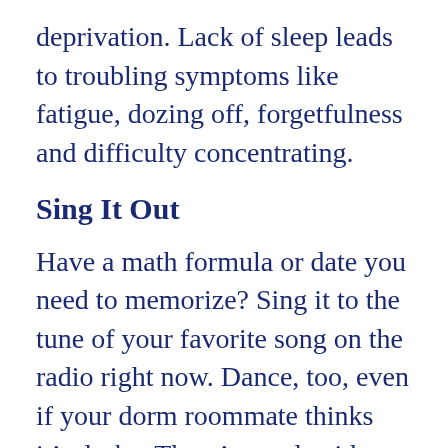deprivation. Lack of sleep leads to troubling symptoms like fatigue, dozing off, forgetfulness and difficulty concentrating.
Sing It Out
Have a math formula or date you need to memorize? Sing it to the tune of your favorite song on the radio right now. Dance, too, even if your dorm roommate thinks it’s dorky. There’s good evidence that the brain is more likely to remember those little facts if you put music behind them — perhaps because music and math are directly related.